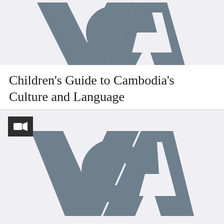[Figure (logo): VOA (Voice of America) logo in gray on light gray background, cropped at the top]
Children's Guide to Cambodia's Culture and Language
[Figure (logo): VOA (Voice of America) logo centered on light gray background with a video camera icon in the top-left corner]